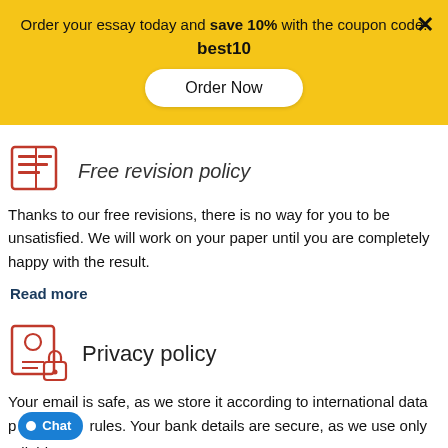Order your essay today and save 10% with the coupon code: best10
Order Now
Free revision policy
Thanks to our free revisions, there is no way for you to be unsatisfied. We will work on your paper until you are completely happy with the result.
Read more
Privacy policy
Your email is safe, as we store it according to international data protection rules. Your bank details are secure, as we use only reliable payment systems.